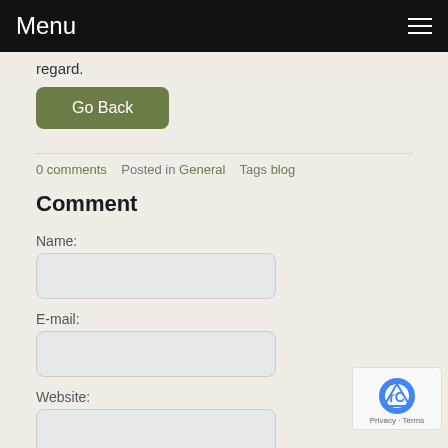Menu
regard.
Go Back
0 comments   Posted in General   Tags blog
Comment
Name:
E-mail:
Website:
Comment: